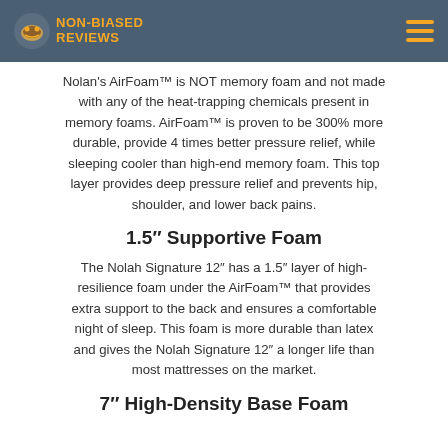NON-BIASED REVIEWS
Nolan's AirFoam™ is NOT memory foam and not made with any of the heat-trapping chemicals present in memory foams. AirFoam™ is proven to be 300% more durable, provide 4 times better pressure relief, while sleeping cooler than high-end memory foam. This top layer provides deep pressure relief and prevents hip, shoulder, and lower back pains.
1.5″ Supportive Foam
The Nolah Signature 12″ has a 1.5″ layer of high-resilience foam under the AirFoam™ that provides extra support to the back and ensures a comfortable night of sleep. This foam is more durable than latex and gives the Nolah Signature 12″ a longer life than most mattresses on the market.
7″ High-Density Base Foam